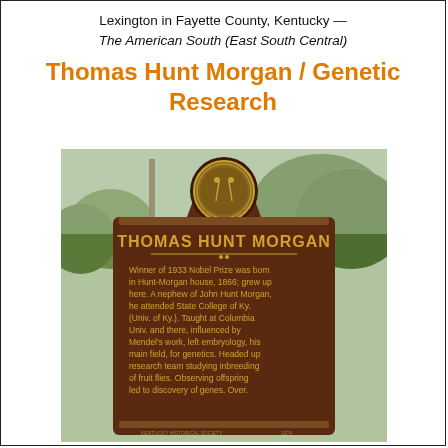Lexington in Fayette County, Kentucky — The American South (East South Central)
Thomas Hunt Morgan / Genetic Research
[Figure (photo): Historical marker photograph showing a bronze Kentucky state historical marker for Thomas Hunt Morgan. The marker reads: THOMAS HUNT MORGAN — Winner of 1933 Nobel Prize was born in Hunt-Morgan house, 1866; grew up here. A nephew of John Hunt Morgan, he attended State College of Ky. (Univ. of Ky.). Taught at Columbia Univ. and there, influenced by Mendel's work, left embryology, his main field, for genetics. Headed up research team studying inbreeding of fruit flies. Observing offspring led to discovery of genes. Over. The marker is topped with the Commonwealth of Kentucky seal medallion. Background shows trees and sky.]